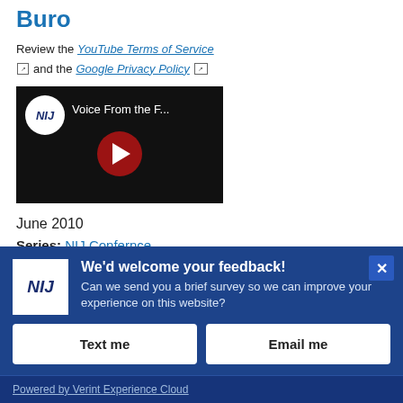Buro
Review the YouTube Terms of Service and the Google Privacy Policy
[Figure (screenshot): YouTube video thumbnail showing NIJ logo in white circle, title 'Voice From the F...' and red play button on dark background]
June 2010
Series: NIJ Confernce
We'd welcome your feedback! Can we send you a brief survey so we can improve your experience on this website?
Text me
Email me
Powered by Verint Experience Cloud